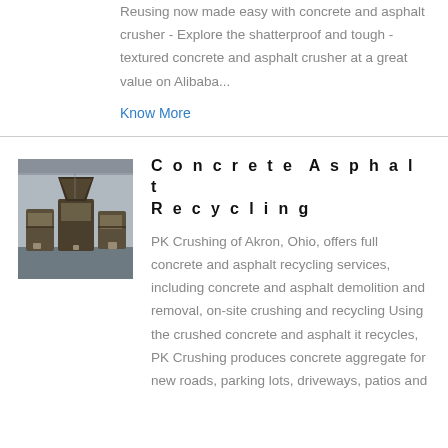Reusing now made easy with concrete and asphalt crusher - Explore the shatterproof and tough - textured concrete and asphalt crusher at a great value on Alibaba...
Know More
[Figure (photo): Industrial concrete and asphalt crushing machinery in a warehouse setting]
Concrete Asphalt Recycling
PK Crushing of Akron, Ohio, offers full concrete and asphalt recycling services, including concrete and asphalt demolition and removal, on-site crushing and recycling Using the crushed concrete and asphalt it recycles, PK Crushing produces concrete aggregate for new roads, parking lots, driveways, patios and